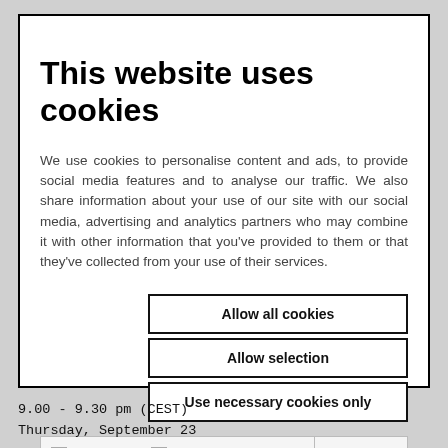This website uses cookies
We use cookies to personalise content and ads, to provide social media features and to analyse our traffic. We also share information about your use of our site with our social media, advertising and analytics partners who may combine it with other information that you've provided to them or that they've collected from your use of their services.
Allow all cookies
Allow selection
Use necessary cookies only
| Necessary | Preferences | Statistics | Show details |
| Marketing |  |  |  |
9.00 - 9.30 pm (CEST)
Thursday, September 23